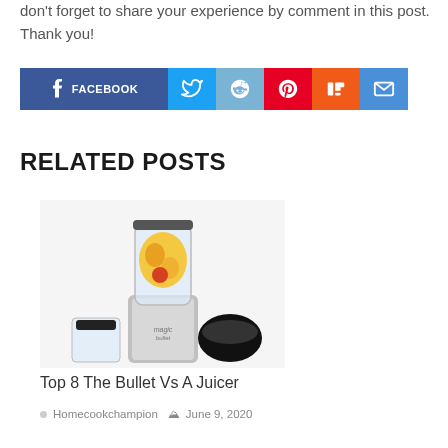don't forget to share your experience by comment in this post. Thank you!
[Figure (infographic): Social sharing buttons row: Facebook (dark blue), Twitter (light blue), Reddit (medium blue), Pinterest (red), Mix (orange), Email (blue)]
RELATED POSTS
[Figure (photo): Photo of a Magic Bullet blender with fruit inside the cup, surrounded by blender accessories, on a white background]
Top 8 The Bullet Vs A Juicer
Homecookchampion   June 9, 2020